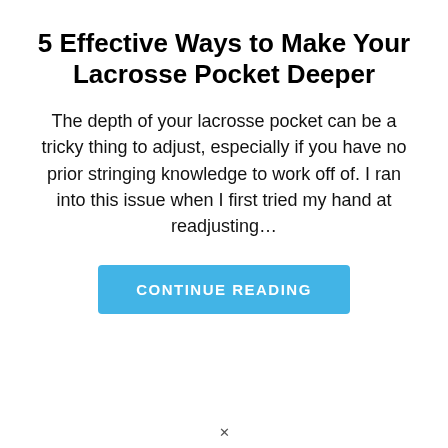5 Effective Ways to Make Your Lacrosse Pocket Deeper
The depth of your lacrosse pocket can be a tricky thing to adjust, especially if you have no prior stringing knowledge to work off of. I ran into this issue when I first tried my hand at readjusting…
CONTINUE READING